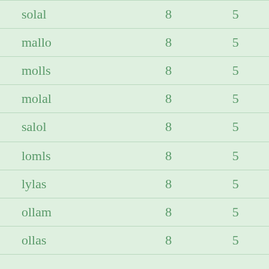| solal | 8 | 5 |
| mallo | 8 | 5 |
| molls | 8 | 5 |
| molal | 8 | 5 |
| salol | 8 | 5 |
| lomls | 8 | 5 |
| lylas | 8 | 5 |
| ollam | 8 | 5 |
| ollas | 8 | 5 |